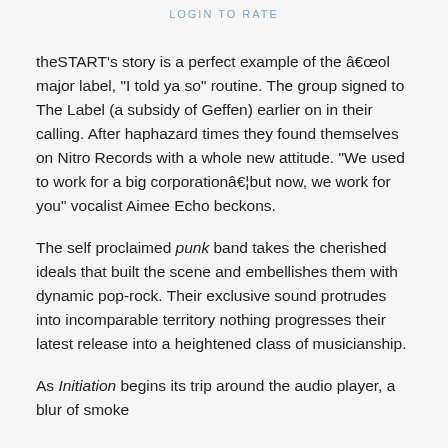LOGIN TO RATE
theSTART's story is a perfect example of the â€œol major label, "I told ya so" routine. The group signed to The Label (a subsidy of Geffen) earlier on in their calling. After haphazard times they found themselves on Nitro Records with a whole new attitude. "We used to work for a big corporationâ€¦but now, we work for you" vocalist Aimee Echo beckons.
The self proclaimed punk band takes the cherished ideals that built the scene and embellishes them with dynamic pop-rock. Their exclusive sound protrudes into incomparable territory nothing progresses their latest release into a heightened class of musicianship.
As Initiation begins its trip around the audio player, a blur of smoke